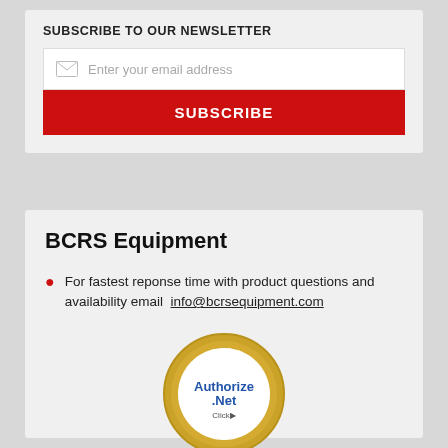SUBSCRIBE TO OUR NEWSLETTER
Enter your email address
SUBSCRIBE
BCRS Equipment
For fastest reponse time with product questions and availability email  info@bcrsequipment.com
[Figure (logo): Authorize.Net Verified Merchant Click badge - circular gold seal with blue Authorize.Net text in center]